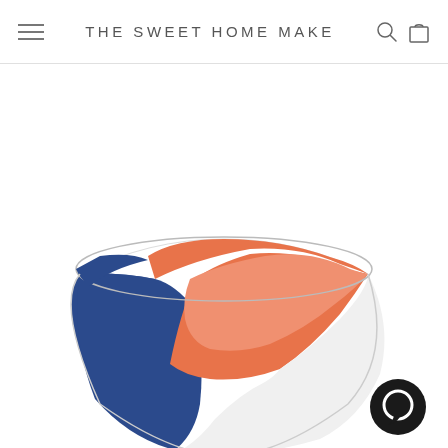THE SWEET HOME MAKE
[Figure (photo): A ceramic bowl photographed from a side-angle view. The bowl features a geometric color-block design with dark navy blue on the left side, a salmon/orange section in the middle-upper area, and white on the right side. The bowl is set against a white background. A circular chat button icon appears in the lower right corner.]